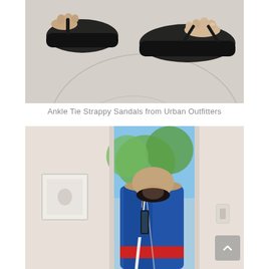[Figure (photo): Close-up photo of two feet wearing black platform flip-flop sandals on a light gray floor, one foot showing the thong strap and platform sole from the front and one from the side]
Ankle Tie Strappy Sandals from Urban Outfitters
[Figure (photo): Mirror selfie of a person wearing a tan bucket hat, blue satin jacket, and a white cross-body strap bag, standing in front of a mirror with a bright window showing green trees behind them and a framed artwork on the wall to the left]